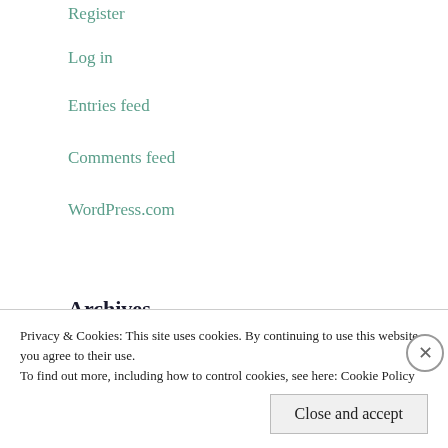Register
Log in
Entries feed
Comments feed
WordPress.com
Archives
June 2020
March 2020
September 2019
July 2019
Privacy & Cookies: This site uses cookies. By continuing to use this website, you agree to their use.
To find out more, including how to control cookies, see here: Cookie Policy
Close and accept